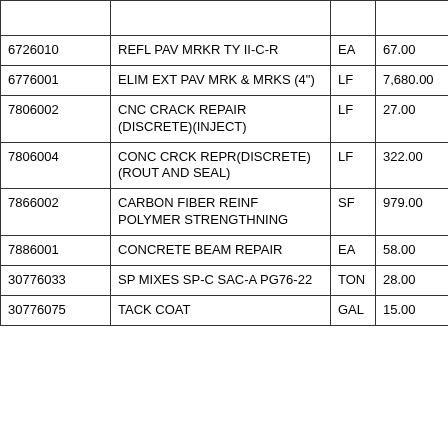| Code | Description | Unit | Quantity |
| --- | --- | --- | --- |
|  |  |  |  |
| 6726010 | REFL PAV MRKR TY II-C-R | EA | 67.00 |
| 6776001 | ELIM EXT PAV MRK & MRKS (4") | LF | 7,680.00 |
| 7806002 | CNC CRACK REPAIR (DISCRETE)(INJECT) | LF | 27.00 |
| 7806004 | CONC CRCK REPR(DISCRETE) (ROUT AND SEAL) | LF | 322.00 |
| 7866002 | CARBON FIBER REINF POLYMER STRENGTHNING | SF | 979.00 |
| 7886001 | CONCRETE BEAM REPAIR | EA | 58.00 |
| 30776033 | SP MIXES SP-C SAC-A PG76-22 | TON | 28.00 |
| 30776075 | TACK COAT | GAL | 15.00 |